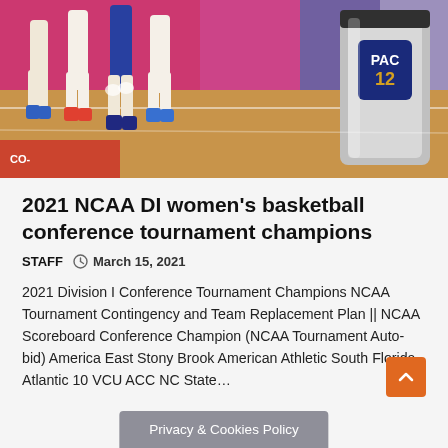[Figure (photo): Basketball players' legs on a court floor with a PAC-12 branded trophy/container visible on the right side]
2021 NCAA DI women’s basketball conference tournament champions
STAFF  ◷ March 15, 2021
2021 Division I Conference Tournament Champions NCAA Tournament Contingency and Team Replacement Plan || NCAA Scoreboard Conference Champion (NCAA Tournament Auto-bid) America East Stony Brook American Athletic South Florida Atlantic 10 VCU ACC NC State…
Privacy & Cookies Policy